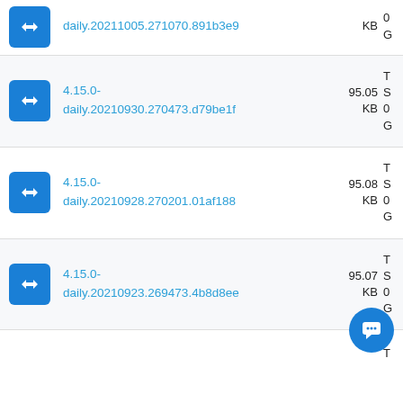daily.20211005.271070.891b3e9  KB  0 G
4.15.0-daily.20210930.270473.d79be1f  95.05 KB  T S 0 G
4.15.0-daily.20210928.270201.01af188  95.08 KB  T S 0 G
4.15.0-daily.20210923.269473.4b8d8ee  95.07 KB  T S 0 G